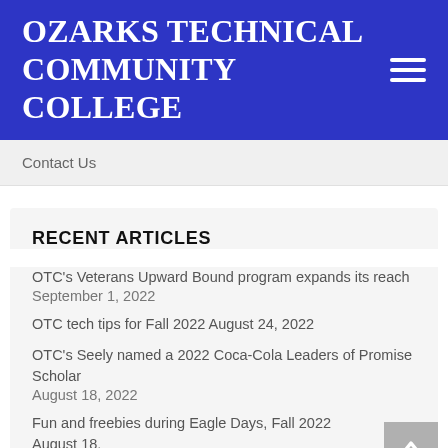Ozarks Technical Community College
Contact Us
RECENT ARTICLES
OTC's Veterans Upward Bound program expands its reach
September 1, 2022
OTC tech tips for Fall 2022 August 24, 2022
OTC's Seely named a 2022 Coca-Cola Leaders of Promise Scholar
August 18, 2022
Fun and freebies during Eagle Days, Fall 2022 August 18, 2022